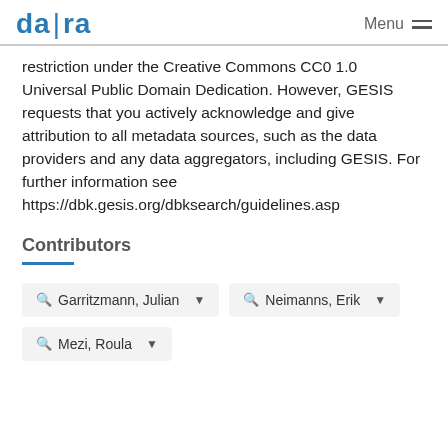da|ra  Menu
restriction under the Creative Commons CC0 1.0 Universal Public Domain Dedication. However, GESIS requests that you actively acknowledge and give attribution to all metadata sources, such as the data providers and any data aggregators, including GESIS. For further information see https://dbk.gesis.org/dbksearch/guidelines.asp
Contributors
Garritzmann, Julian
Neimanns, Erik
Mezi, Roula